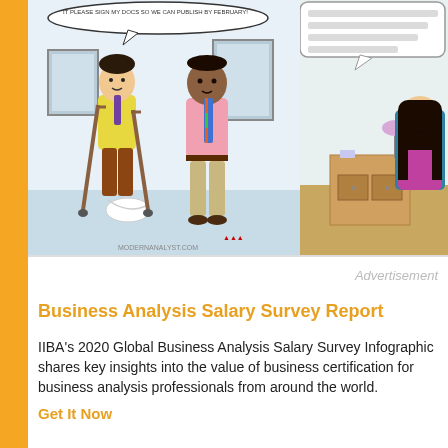[Figure (illustration): Cartoon showing a man on crutches with a cast on his foot, talking to another man in a pink shirt and colorful tie. Speech bubble at top. Watermark: MODERNANALYST.COM]
[Figure (illustration): Partial cartoon showing a woman sitting in a chair with a speech bubble, desk and lamp visible in background]
Advertisement
Business Analysis Salary Survey Report
IIBA's 2020 Global Business Analysis Salary Survey Infographic shares key insights into the value of business certification for business analysis professionals from around the world.
Get It Now